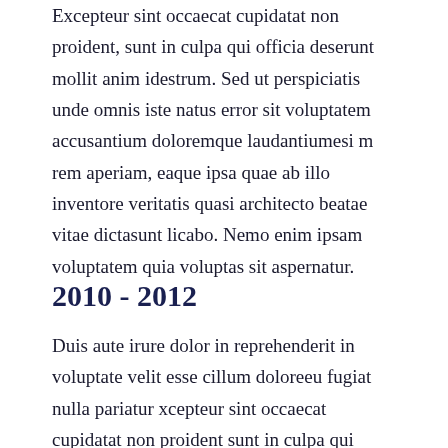Excepteur sint occaecat cupidatat non proident, sunt in culpa qui officia deserunt mollit anim idestrum. Sed ut perspiciatis unde omnis iste natus error sit voluptatem accusantium doloremque laudantiumesi m rem aperiam, eaque ipsa quae ab illo inventore veritatis quasi architecto beatae vitae dictasunt licabo. Nemo enim ipsam voluptatem quia voluptas sit aspernatur.
2010 - 2012
Duis aute irure dolor in reprehenderit in voluptate velit esse cillum doloreeu fugiat nulla pariatur xcepteur sint occaecat cupidatat non proident sunt in culpa qui officia deserunt